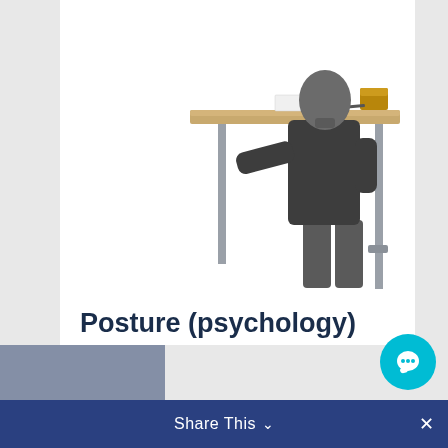[Figure (photo): Person standing at a wooden standing desk, viewed from behind, wearing dark clothing. Items on desk visible. White background.]
Posture (psychology)
In humans, posture can provide a significant amount of important information on nonverbal communication and emotional cues. Psychological...
read more
Share This ∨  ×